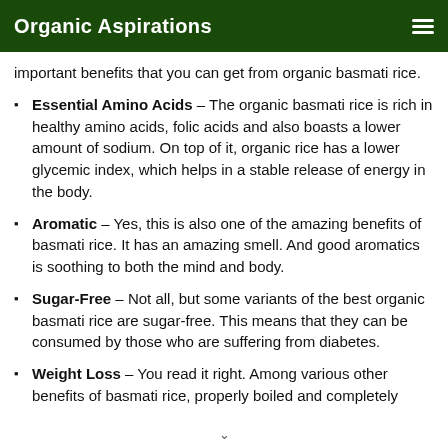Organic Aspirations
important benefits that you can get from organic basmati rice.
Essential Amino Acids – The organic basmati rice is rich in healthy amino acids, folic acids and also boasts a lower amount of sodium. On top of it, organic rice has a lower glycemic index, which helps in a stable release of energy in the body.
Aromatic – Yes, this is also one of the amazing benefits of basmati rice. It has an amazing smell. And good aromatics is soothing to both the mind and body.
Sugar-Free – Not all, but some variants of the best organic basmati rice are sugar-free. This means that they can be consumed by those who are suffering from diabetes.
Weight Loss – You read it right. Among various other benefits of basmati rice, properly boiled and completely